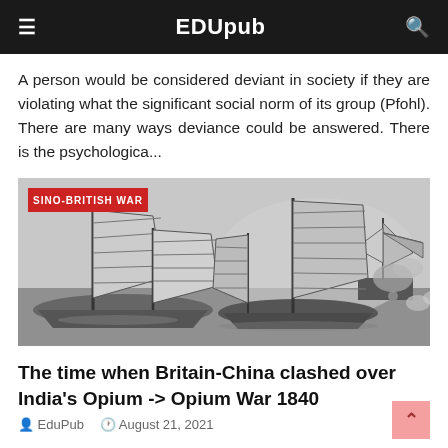EDUpub
A person would be considered deviant in society if they are violating what the significant social norm of its group (Pfohl). There are many ways deviance could be answered. There is the psychologica...
[Figure (illustration): Historical black and white illustration of Chinese junk ships and a British sailing ship in battle at sea, labeled SINO-BRITISH WAR]
The time when Britain-China clashed over India's Opium -> Opium War 1840
EduPub  August 21, 2021